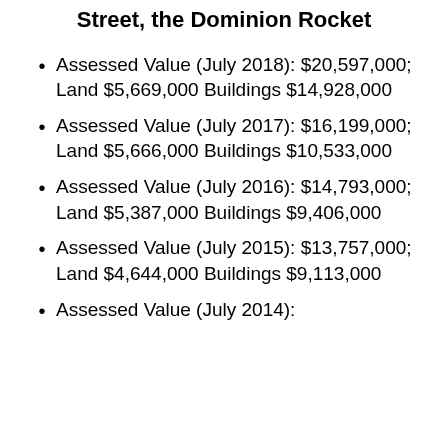Additional Information About 700 Yates Street, the Dominion Rocket
Assessed Value (July 2018): $20,597,000; Land $5,669,000 Buildings $14,928,000
Assessed Value (July 2017): $16,199,000; Land $5,666,000 Buildings $10,533,000
Assessed Value (July 2016): $14,793,000; Land $5,387,000 Buildings $9,406,000
Assessed Value (July 2015): $13,757,000; Land $4,644,000 Buildings $9,113,000
Assessed Value (July 2014):